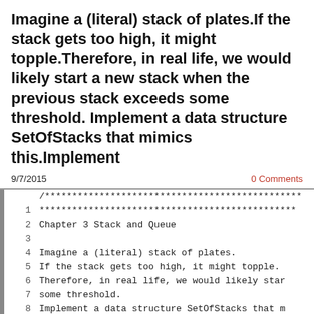Imagine a (literal) stack of plates.If the stack gets too high, it might topple.Therefore, in real life, we would likely start a new stack when the previous stack exceeds some threshold. Implement a data structure SetOfStacks that mimics this.Implement
9/7/2015
0 Comments
[Figure (screenshot): Code block with line numbers showing a C++ implementation comment header and code for Chapter 3 Stack and Queue, SetOfStacks problem by Hamed Kiani (Sep. 7, 2015). Lines shown: /*** header ***, Chapter 3 Stack and Queue, Imagine a (literal) stack of plates., If the stack gets too high it might topple., Therefore in real life we would likely star[t], some threshold., Implement a data structure SetOfStacks that m[imics], Implement a function popAt(int index) which p[ops], stack., By: Hamed Kiani (Sep. 7, 2015), ***...]